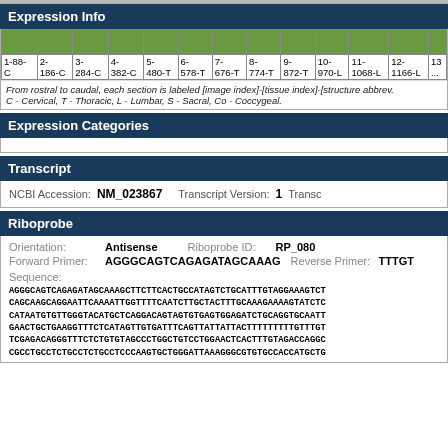Expression Info
| 1-88-C | 2-186-C | 3-284-C | 4-382-C | 5-480-T | 6-578-T | 7-676-T | 8-774-T | 9-872-T | 10-970-L | 11-1068-L | 12-1166-L | 13-... |
| --- | --- | --- | --- | --- | --- | --- | --- | --- | --- | --- | --- | --- |
| (green) | (green) | (green) | (green) | (green) | (green) | (green) | (green) | (green) | (green) | (green) | (green) | (green) |
From rostral to caudal, each section is labeled [image index]-[tissue index]-[structure abbrev. C - Cervical, T - Thoracic, L - Lumbar, S - Sacral, Co - Coccygeal.
Expression Categories
Transcript
NCBI Accession: NM_023867  Transcript Version: 1  Transc...
Riboprobe
Orientation: Antisense   Riboprobe ID: RP_080
Forward Primer: AGGGCAGTCAGAGATAGCAAAG   Reverse Primer: TTTGT...
Sequence:
AGGGCAGTCAGAGATAGCAAAGCTTCTTCACTGCCATAGTCTGCATTTGTAGGAAAGTCT
CAGCAAGCAGGAATTCAAAATTGGTTTTCAATCTTGCTACTTTGCAAGAAAAGTATCTC
CATAATGTGTTGGGTACATGCTCAGGACAGTAGTGTGAGTGGAGATCTGCAGGTGCAATT
GAACTGCTGAAGGTTTCTCATAGTTGTGATTTCAGTTATTATTACTTTTTTTTGTTTTGT
TCGAGACAGGGTTTCTCTGTGTAGCCCTGGCTGTCCTGGAACTCACTTTGTAGACCAGGC
CGCCTGCCTCTGCCTCTGCCTCCCAAGTGCTGGGATTAAAGGGCGTGTGCCACCATGCTG